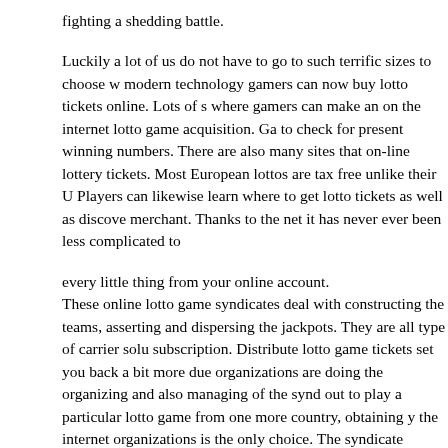fighting a shedding battle.
Luckily a lot of us do not have to go to such terrific sizes to choose w modern technology gamers can now buy lotto tickets online. Lots of s where gamers can make an on the internet lotto game acquisition. Ga to check for present winning numbers. There are also many sites that on-line lottery tickets. Most European lottos are tax free unlike their U Players can likewise learn where to get lotto tickets as well as discove merchant. Thanks to the net it has never ever been less complicated to
every little thing from your online account. These online lotto game syndicates deal with constructing the teams, asserting and dispersing the jackpots. They are all type of carrier solu subscription. Distribute lotto game tickets set you back a bit more due organizations are doing the organizing and also managing of the synd out to play a particular lotto game from one more country, obtaining y the internet organizations is the only choice. The syndicate service su does enhance value considerably. They offer benefits of remaining in game pool took care of for you. They offer great deals of repayment o